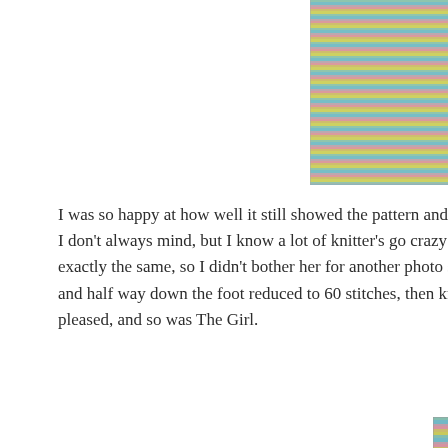[Figure (photo): Close-up photo of colorful knitted sock/fabric in turquoise, pink, and yellow variegated yarn, partially cropped at top right of page.]
I was so happy at how well it still showed the pattern and there I don't always mind, but I know a lot of knitter's go crazy about exactly the same, so I didn't bother her for another photo shoot. and half way down the foot reduced to 60 stitches, then knit on pleased, and so was The Girl.
[Figure (photo): Photo of a foot/ankle wearing a colorful knitted sock in turquoise, pink, and yellow variegated yarn, showing textured knit pattern, partially cropped at bottom right of page.]